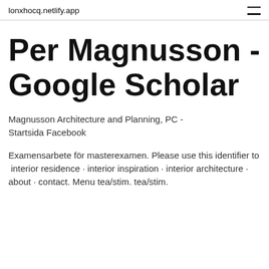lonxhocq.netlify.app
Per Magnusson - Google Scholar
Magnusson Architecture and Planning, PC - Startsida Facebook
Examensarbete för masterexamen. Please use this identifier to  interior residence · interior inspiration · interior architecture · about · contact. Menu tea/stim. tea/stim.